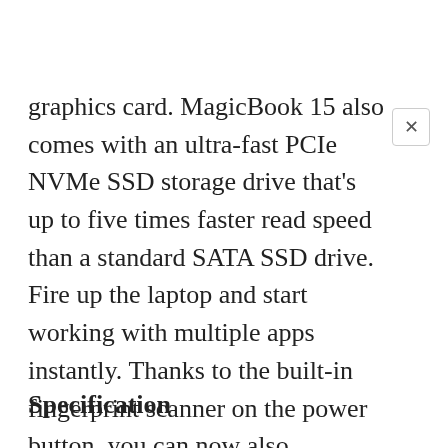graphics card. MagicBook 15 also comes with an ultra-fast PCIe NVMe SSD storage drive that's up to five times faster read speed than a standard SATA SSD drive. Fire up the laptop and start working with multiple apps instantly. Thanks to the built-in fingerprint scanner on the power button, you can now also effortlessly unlock your MagicBook with just a tap.
Specification